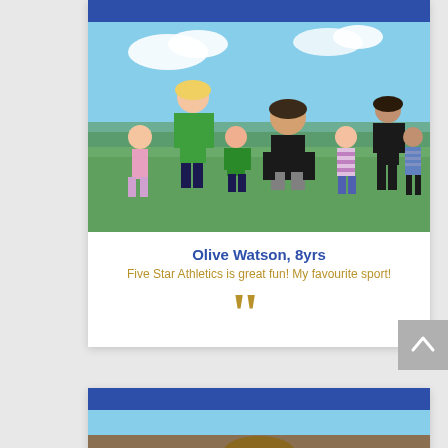[Figure (photo): Group photo of a coach and several children outdoors on grass with blue sky background, coach kneeling in center wearing black shirt]
Olive Watson, 8yrs
Five Star Athletics is great fun! My favourite sport!
[Figure (illustration): Large closing double quotation marks in gold/tan color]
[Figure (photo): Partial view of another testimonial card below, showing blue bar header and top of a person's head]